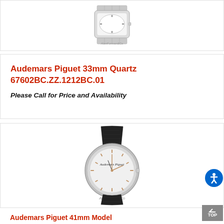[Figure (photo): Top portion of a luxury watch with bracelet on white background, AlanFurman&Co watermark visible]
Audemars Piguet 33mm Quartz 67602BC.ZZ.1212BC.01
Please Call for Price and Availability
[Figure (photo): Audemars Piguet 41mm watch with silver dial and black leather strap on white background, AlanFurman&Co watermark visible]
Audemars Piguet 41mm Model 15180BC.OO.A002CR.01